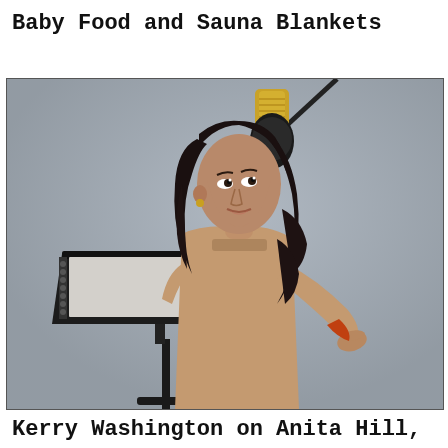Baby Food and Sauna Blankets
[Figure (photo): Kerry Washington standing in a recording studio setting, wearing a tan/beige long-sleeve fitted dress with a small cutout detail. She has long curly black hair and is gesturing with her right hand outward. A gold and black studio microphone hangs above her on a boom, and a black music stand with sheet music is in front/left of her. Background is a neutral grey.]
Kerry Washington on Anita Hill,